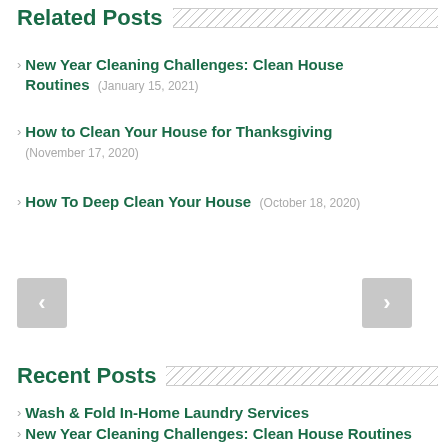Related Posts
New Year Cleaning Challenges: Clean House Routines (January 15, 2021)
How to Clean Your House for Thanksgiving (November 17, 2020)
How To Deep Clean Your House (October 18, 2020)
Recent Posts
Wash & Fold In-Home Laundry Services
New Year Cleaning Challenges: Clean House Routines